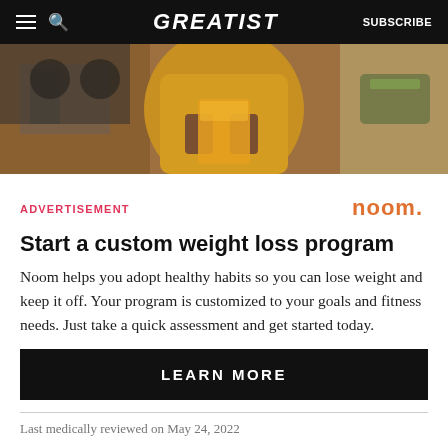GREATIST | SUBSCRIBE
[Figure (photo): Person in yellow top holding a glass of orange juice in a kitchen setting]
ADVERTISEMENT
[Figure (logo): noom. logo in orange dotted style]
Start a custom weight loss program
Noom helps you adopt healthy habits so you can lose weight and keep it off. Your program is customized to your goals and fitness needs. Just take a quick assessment and get started today.
LEARN MORE
Last medically reviewed on May 24, 2022